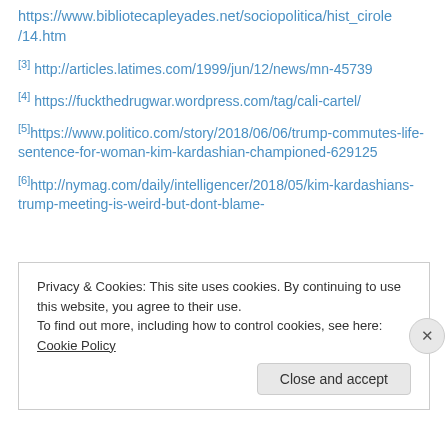https://www.bibliotecapleyades.net/sociopolitica/hist_cirole/14.htm
[3] http://articles.latimes.com/1999/jun/12/news/mn-45739
[4] https://fuckthedrugwar.wordpress.com/tag/cali-cartel/
[5]https://www.politico.com/story/2018/06/06/trump-commutes-life-sentence-for-woman-kim-kardashian-championed-629125
[6]http://nymag.com/daily/intelligencer/2018/05/kim-kardashians-trump-meeting-is-weird-but-dont-blame-
Privacy & Cookies: This site uses cookies. By continuing to use this website, you agree to their use.
To find out more, including how to control cookies, see here: Cookie Policy